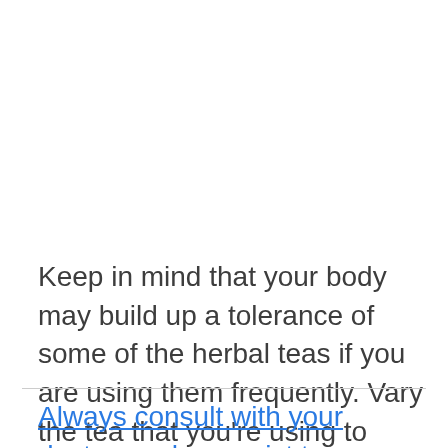Keep in mind that your body may build up a tolerance of some of the herbal teas if you are using them frequently. Vary the tea that you're using to ensure that it will continue to work well for your headaches.
Always consult with your doctor or pharmacist to ensure that they will